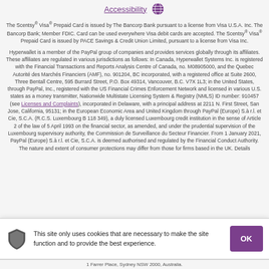Accessibility
The Scentsy® Visa® Prepaid Card is issued by The Bancorp Bank pursuant to a license from Visa U.S.A. Inc. The Bancorp Bank; Member FDIC. Card can be used everywhere Visa debit cards are accepted. The Scentsy® Visa® Prepaid Card is issued by PACE Savings & Credit Union Limited, pursuant to a license from Visa Inc.
Hyperwallet is a member of the PayPal group of companies and provides services globally through its affiliates. These affiliates are regulated in various jurisdictions as follows: In Canada, Hyperwallet Systems Inc. is registered with the Financial Transactions and Reports Analysis Centre of Canada, no. M08905000, and the Quebec Autorité des Marchés Financiers (AMF), no. 901204, BC incorporated, with a registered office at Suite 2600, Three Bentall Centre, 595 Burrard Street, P.O. Box 49314, Vancouver, B.C. V7X 1L3; in the United States, through PayPal, Inc., registered with the US Financial Crimes Enforcement Network and licensed in various U.S. states as a money transmitter, Nationwide Multistate Licensing System & Registry (NMLS) ID number: 910457 (see Licenses and Complaints), incorporated in Delaware, with a principal address at 2211 N. First Street, San Jose, California, 95131; in the European Economic Area and United Kingdom through PayPal (Europe) S.à r.l. et Cie, S.C.A. (R.C.S. Luxembourg B 118 349), a duly licensed Luxembourg credit institution in the sense of Article 2 of the law of 5 April 1993 on the financial sector, as amended, and under the prudential supervision of the Luxembourg supervisory authority, the Commission de Surveillance du Secteur Financier. From 1 January 2021, PayPal (Europe) S.à r.l. et Cie, S.C.A. is deemed authorised and regulated by the Financial Conduct Authority. The nature and extent of consumer protections may differ from those for firms based in the UK. Details
This site only uses cookies that are necessary to make the site function and to provide the best experience.
1 Farrer Place, Sydney NSW 2000, Australia.